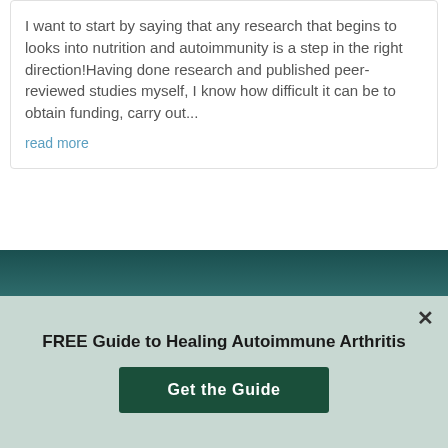I want to start by saying that any research that begins to looks into nutrition and autoimmunity is a step in the right direction!Having done research and published peer-reviewed studies myself, I know how difficult it can be to obtain funding, carry out...
read more
FREE Guide to Healing Autoimmune Arthritis
Get the Guide